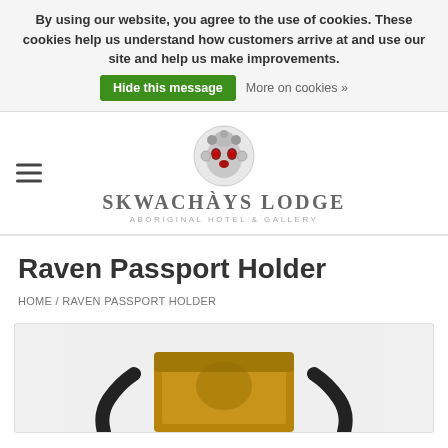By using our website, you agree to the use of cookies. These cookies help us understand how customers arrive at and use our site and help us make improvements.
Hide this message    More on cookies »
[Figure (logo): Skwachàys Lodge Aboriginal Hotel & Gallery logo with decorative indigenous mask illustration]
Raven Passport Holder
HOME / RAVEN PASSPORT HOLDER
[Figure (photo): Product photo of a brown leather Raven Passport Holder showing passport holder with raven design]